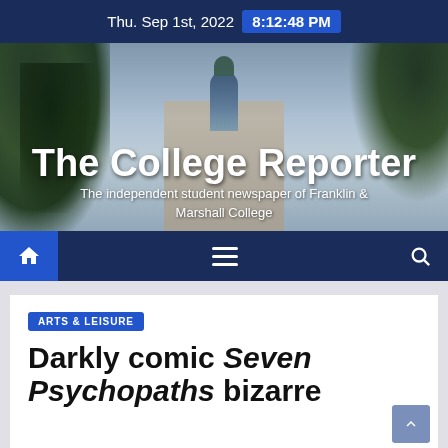Thu. Sep 1st, 2022  8:12:48 PM
[Figure (photo): Banner photo of Franklin & Marshall College building with clock tower, framed by trees, serving as newspaper masthead background]
The College Reporter
The independent student newspaper of Franklin & Marshall College
[Figure (screenshot): Navigation bar with home icon (blue square), hamburger menu (three lines), and search icon on dark navy background]
ARTS & LEISURE
Darkly comic Seven Psychopaths bizarre